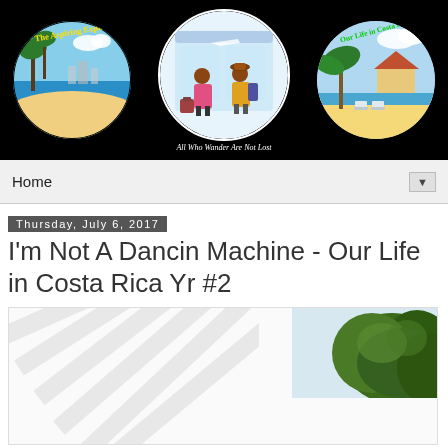[Figure (illustration): Blog header banner with black background showing three circular logos: 'The Aspiring Expats' with a tropical beach scene, a center circle with two travelers and text 'All Who Wander Are Not Lost', and 'Our Life in Costa Rica' with beach chairs and palm tree.]
Home ▼
Thursday, July 6, 2017
I'm Not A Dancin Machine - Our Life in Costa Rica Yr #2
[Figure (photo): Partially loaded image showing diagonal loading lines on the left side and a green tree/foliage in the upper right corner against a light sky.]